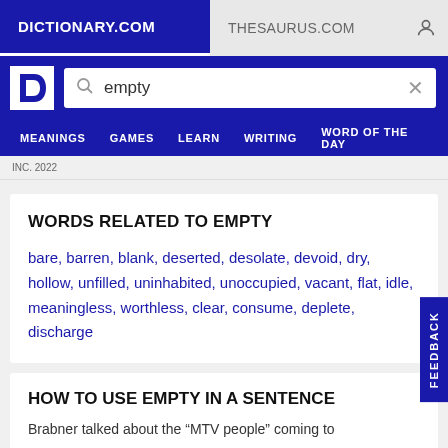DICTIONARY.COM    THESAURUS.COM
WORDS RELATED TO EMPTY
bare, barren, blank, deserted, desolate, devoid, dry, hollow, unfilled, uninhabited, unoccupied, vacant, flat, idle, meaningless, worthless, clear, consume, deplete, discharge
HOW TO USE EMPTY IN A SENTENCE
Brabner talked about the “MTV people” coming to